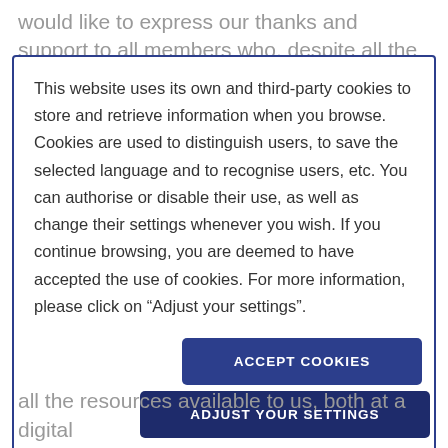would like to express our thanks and support to all members who, despite all the difficulties over the
This website uses its own and third-party cookies to store and retrieve information when you browse. Cookies are used to distinguish users, to save the selected language and to recognise users, etc. You can authorise or disable their use, as well as change their settings whenever you wish. If you continue browsing, you are deemed to have accepted the use of cookies. For more information, please click on “Adjust your settings”.
ACCEPT COOKIES
ADJUST YOUR SETTINGS
all the resources available to us, both at a digital